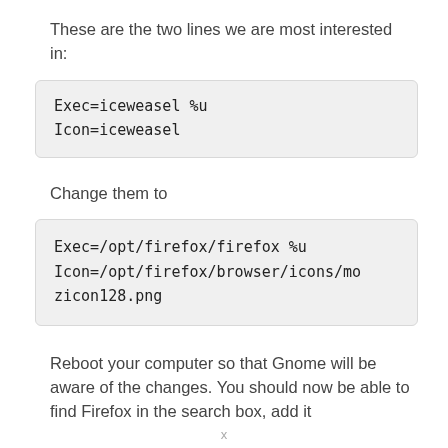These are the two lines we are most interested in:
Exec=iceweasel %u
Icon=iceweasel
Change them to
Exec=/opt/firefox/firefox %u
Icon=/opt/firefox/browser/icons/mozicon128.png
Reboot your computer so that Gnome will be aware of the changes. You should now be able to find Firefox in the search box, add it